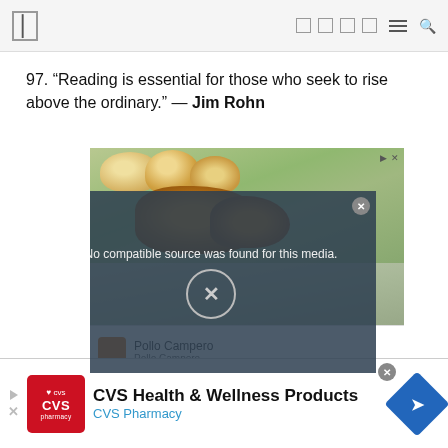Navigation bar with menu icons
97. “Reading is essential for those who seek to rise above the ordinary.” — Jim Rohn
[Figure (screenshot): Advertisement showing food (bread rolls and fried chicken) with a video overlay message 'No compatible source was found for this media.' and Pollo Campero branding below.]
[Figure (other): CVS Health & Wellness Products advertisement banner with CVS Pharmacy logo, title text and blue diamond navigation icon.]